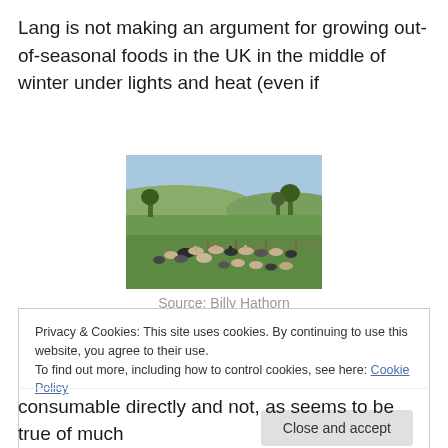Lang is not making an argument for growing out-of-seasonal foods in the UK in the middle of winter under lights and heat (even if
[Figure (photo): A herd of cattle grazing on a green open grassland/prairie landscape with trees in the background under a blue sky.]
Source: Billy Hathorn
Privacy & Cookies: This site uses cookies. By continuing to use this website, you agree to their use.
To find out more, including how to control cookies, see here: Cookie Policy
consumable directly and not, as seems to be true of much